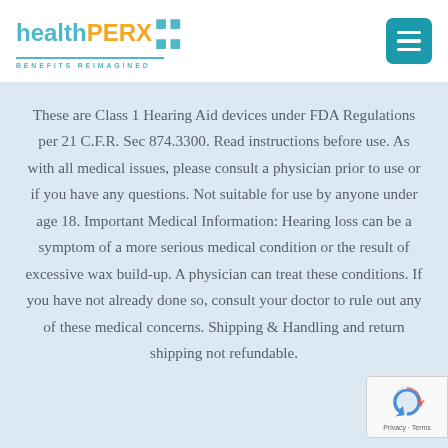[Figure (logo): healthPERX logo with tagline BENEFITS REIMAGINED in teal, PERX in orange, with decorative dot grid, and teal underline]
[Figure (other): Teal hamburger menu button icon (three horizontal white bars on teal rounded square background)]
These are Class 1 Hearing Aid devices under FDA Regulations per 21 C.F.R. Sec 874.3300. Read instructions before use. As with all medical issues, please consult a physician prior to use or if you have any questions. Not suitable for use by anyone under age 18. Important Medical Information: Hearing loss can be a symptom of a more serious medical condition or the result of excessive wax build-up. A physician can treat these conditions. If you have not already done so, consult your doctor to rule out any of these medical concerns. Shipping & Handling and return shipping not refundable.